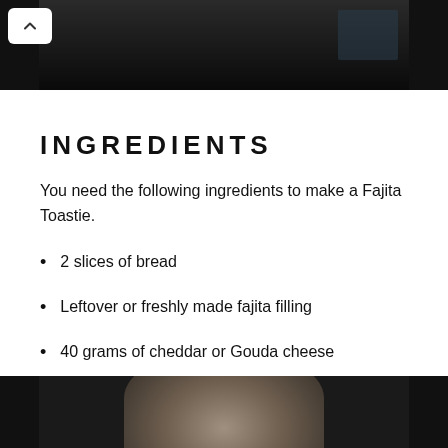[Figure (photo): Top portion of a dark food photo, partially cropped at top of page]
INGREDIENTS
You need the following ingredients to make a Fajita Toastie.
2 slices of bread
Leftover or freshly made fajita filling
40 grams of cheddar or Gouda cheese
[Figure (photo): Bottom portion of a food photo showing what appears to be a toasted sandwich, partially cropped at bottom of page]